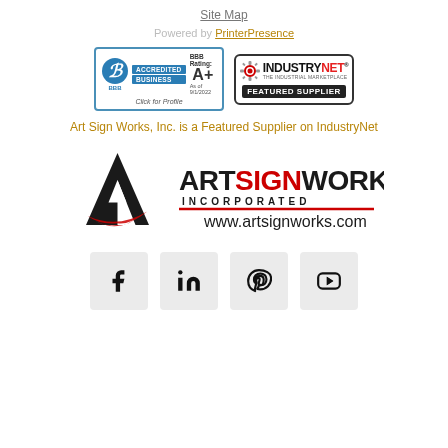Site Map
Powered by PrinterPresence
[Figure (logo): BBB Accredited Business BBB Rating: A+ As of 9/1/2022 Click for Profile badge]
[Figure (logo): IndustryNet The Industrial Marketplace Featured Supplier badge]
Art Sign Works, Inc. is a Featured Supplier on IndustryNet
[Figure (logo): Art Sign Works Incorporated www.artsignworks.com company logo]
[Figure (other): Social media icons: Facebook, LinkedIn, Pinterest, YouTube]
[Figure (other): LinkedIn social media icon]
[Figure (other): Pinterest social media icon]
[Figure (other): YouTube social media icon]